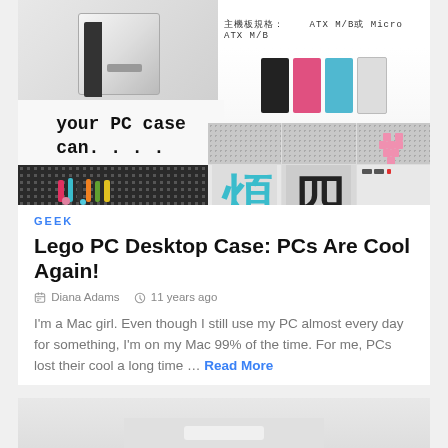[Figure (photo): Collage of Lego PC desktop cases: a white/black tower case top-left, spec text showing ATX M/B or Micro ATX M/B, colorful pink/blue/white cases, 'your PC case can....' text overlay, and a grid of six Lego brick art panels showing decorative patterns and Chinese characters]
GEEK
Lego PC Desktop Case: PCs Are Cool Again!
Diana Adams   11 years ago
I'm a Mac girl. Even though I still use my PC almost every day for something, I'm on my Mac 99% of the time. For me, PCs lost their cool a long time ... Read More